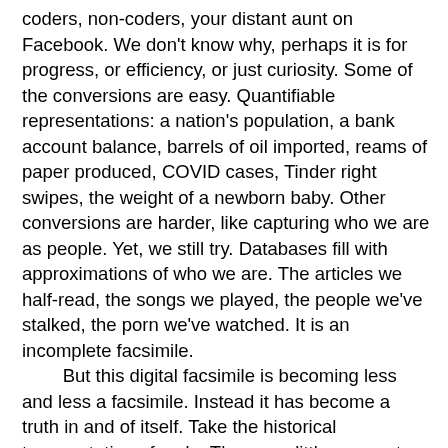coders, non-coders, your distant aunt on Facebook. We don't know why, perhaps it is for progress, or efficiency, or just curiosity. Some of the conversions are easy. Quantifiable representations: a nation's population, a bank account balance, barrels of oil imported, reams of paper produced, COVID cases, Tinder right swipes, the weight of a newborn baby. Other conversions are harder, like capturing who we are as people. Yet, we still try. Databases fill with approximations of who we are. The articles we half-read, the songs we played, the people we've stalked, the porn we've watched. It is an incomplete facsimile.
	But this digital facsimile is becoming less and less a facsimile. Instead it has become a truth in and of itself. Take the historical transmutation of code. There are little remnants of its original form. The evolutionary path between the IBM punch cards and the Java IDE is not obvious. Vacuum tubes no longer fit inside our smartphones. The physical space taken by the original computers have now given way to an infinite digital one.
	The physical is no longer the determinant of the digital. There is now a bidirectional relationship between the physical and the digital. The two realms now dictate each